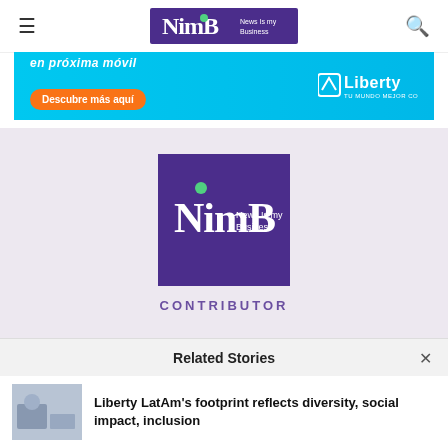NimB News Is My Business
[Figure (photo): Liberty advertisement banner — cyan background with 'Descubre más aquí' orange button and Liberty logo on the right]
[Figure (logo): NimB News Is My Business logo on purple background — Contributor badge]
Related Stories
Liberty LatAm's footprint reflects diversity, social impact, inclusion